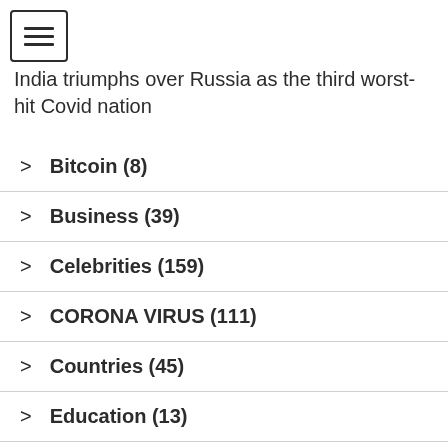[Figure (other): Hamburger menu button icon with three horizontal lines inside a rounded rectangle border]
India triumphs over Russia as the third worst-hit Covid nation
> Bitcoin (8)
> Business (39)
> Celebrities (159)
> CORONA VIRUS (111)
> Countries (45)
> Education (13)
> Entertainment (62)